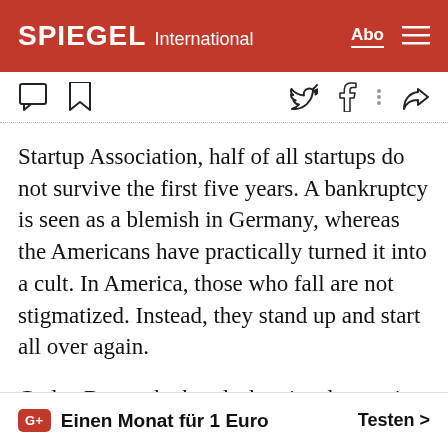SPIEGEL International
[Figure (screenshot): Toolbar with comment, bookmark, Twitter, Facebook, and share icons]
Startup Association, half of all startups do not survive the first five years. A bankruptcy is seen as a blemish in Germany, whereas the Americans have practically turned it into a cult. In America, those who fall are not stigmatized. Instead, they stand up and start all over again.
Carlos Borges had to declare insolvency in January. The native Brazilian founded Hamburg-based triprebel in 2013. The startup developed a digital travel assistant that searched for the best deals for its
G+ Einen Monat für 1 Euro  Testen >